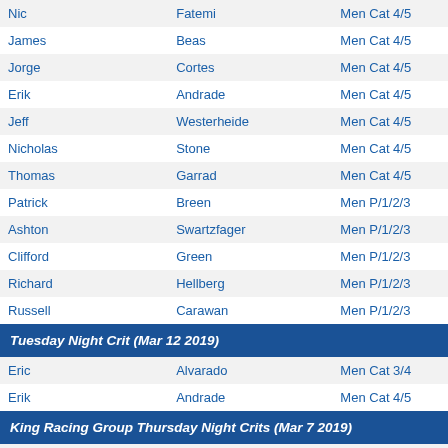| First | Last | Category |
| --- | --- | --- |
| Nic | Fatemi | Men Cat 4/5 |
| James | Beas | Men Cat 4/5 |
| Jorge | Cortes | Men Cat 4/5 |
| Erik | Andrade | Men Cat 4/5 |
| Jeff | Westerheide | Men Cat 4/5 |
| Nicholas | Stone | Men Cat 4/5 |
| Thomas | Garrad | Men Cat 4/5 |
| Patrick | Breen | Men P/1/2/3 |
| Ashton | Swartzfager | Men P/1/2/3 |
| Clifford | Green | Men P/1/2/3 |
| Richard | Hellberg | Men P/1/2/3 |
| Russell | Carawan | Men P/1/2/3 |
Tuesday Night Crit (Mar 12 2019)
| First | Last | Category |
| --- | --- | --- |
| Eric | Alvarado | Men Cat 3/4 |
| Erik | Andrade | Men Cat 4/5 |
King Racing Group Thursday Night Crits (Mar 7 2019)
| First | Last | Category |
| --- | --- | --- |
| Russell | Carawan | Men Cat 3/4 |